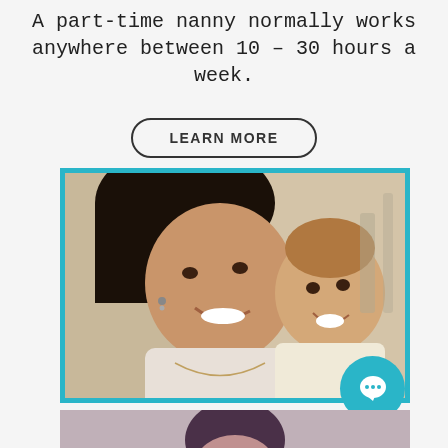A part-time nanny normally works anywhere between 10 – 30 hours a week.
LEARN MORE
[Figure (photo): Photo of a smiling woman holding a happy baby, framed with a teal/cyan border]
[Figure (photo): Partially visible photo at the bottom of the page showing a person]